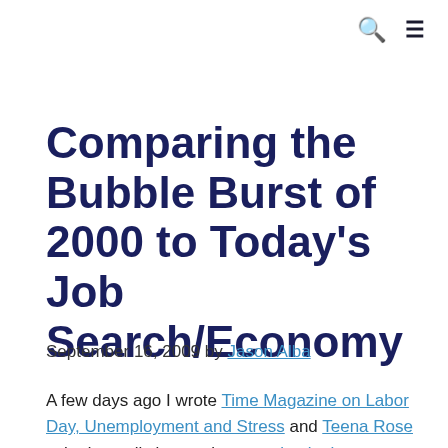🔍 ≡
Comparing the Bubble Burst of 2000 to Today's Job Search/Economy
September 16, 2009 by Jason Alba
A few days ago I wrote Time Magazine on Labor Day, Unemployment and Stress and Teena Rose asked a really interesting question in the comments: